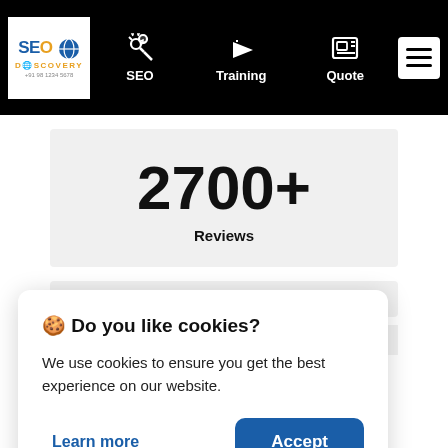[Figure (screenshot): SEO Discovery website navigation bar with logo, SEO, Training, Quote menu items and hamburger menu on black background]
2700+ Reviews
🍪 Do you like cookies?

We use cookies to ensure you get the best experience on our website.

Learn more   Accept